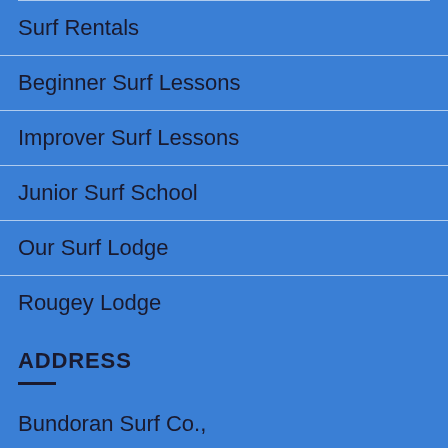Surf Rentals
Beginner Surf Lessons
Improver Surf Lessons
Junior Surf School
Our Surf Lodge
Rougey Lodge
ADDRESS
Bundoran Surf Co.,
Main Street, Bundoran,
Co.Donegal, Ireland.
F94 XK6R